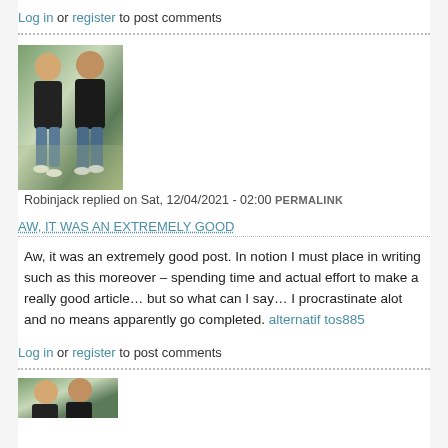Log in or register to post comments
[Figure (photo): Photo of a couple walking together outdoors, both wearing black hoodies and jeans]
Robinjack replied on Sat, 12/04/2021 - 02:00 PERMALINK
AW, IT WAS AN EXTREMELY GOOD
Aw, it was an extremely good post. In notion I must place in writing such as this moreover – spending time and actual effort to make a really good article… but so what can I say… I procrastinate alot and no means apparently go completed. alternatif tos885
Log in or register to post comments
[Figure (photo): Partial photo of another user avatar at bottom of page]